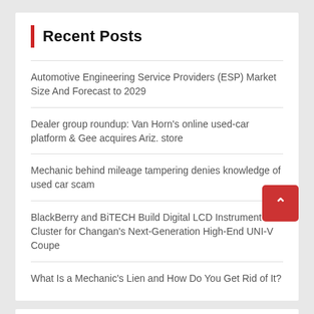Recent Posts
Automotive Engineering Service Providers (ESP) Market Size And Forecast to 2029
Dealer group roundup: Van Horn's online used-car platform & Gee acquires Ariz. store
Mechanic behind mileage tampering denies knowledge of used car scam
BlackBerry and BiTECH Build Digital LCD Instrument Cluster for Changan's Next-Generation High-End UNI-V Coupe
What Is a Mechanic's Lien and How Do You Get Rid of It?
Archives